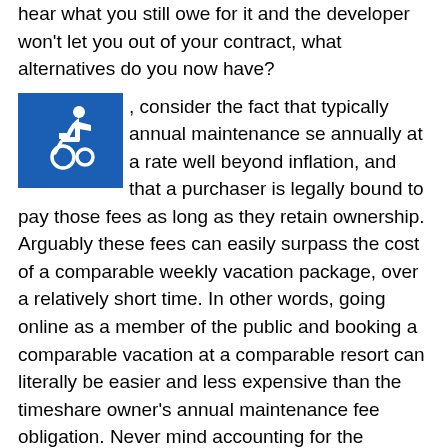hear what you still owe for it and the developer won't let you out of your contract, what alternatives do you now have?
consider the fact that typically annual maintenance se annually at a rate well beyond inflation, and that a purchaser is legally bound to pay those fees as long as they retain ownership. Arguably these fees can easily surpass the cost of a comparable weekly vacation package, over a relatively short time. In other words, going online as a member of the public and booking a comparable vacation at a comparable resort can literally be easier and less expensive than the timeshare owner's annual maintenance fee obligation. Never mind accounting for the timeshare interest's upfront purchase costs!
In conclusion, it quickly becomes very evident the tremendous amount of permanent financial damage that can be done by a financially motivated salesperson.
So why, you may ask, does this practice continue? Why can't